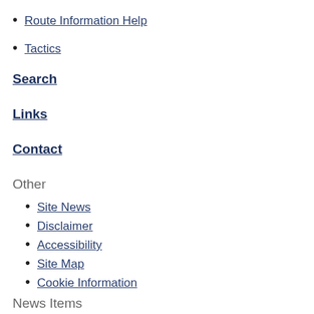Route Information Help
Tactics
Search
Links
Contact
Other
Site News
Disclaimer
Accessibility
Site Map
Cookie Information
News Items